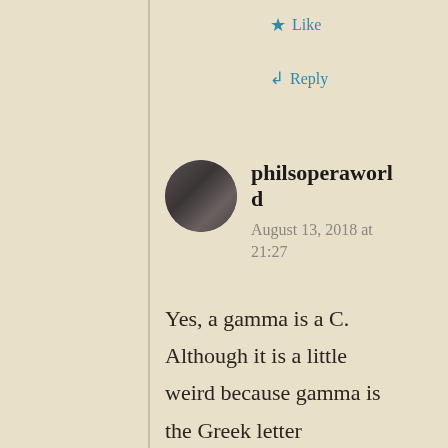★ Like
↳ Reply
philsoperaworld
August 13, 2018 at 21:27
Yes, a gamma is a C. Although it is a little weird because gamma is the Greek letter corresponding to G in the